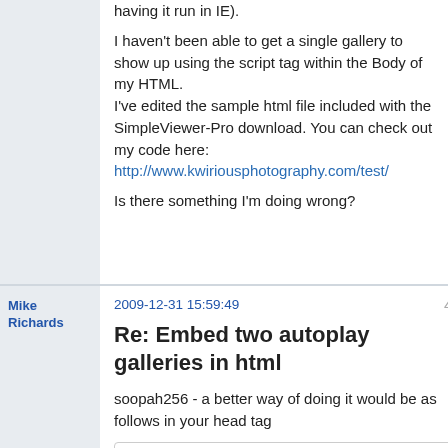having it run in IE).

I haven't been able to get a single gallery to show up using the script tag within the Body of my HTML.
I've edited the sample html file included with the SimpleViewer-Pro download. You can check out my code here:
http://www.kwiriousphotography.com/test/

Is there something I'm doing wrong?
Mike Richards
2009-12-31 15:59:49
4
Re: Embed two autoplay galleries in html
soopah256 - a better way of doing it would be as follows in your head tag
<script type="text/javascript"
src="http://ajax.googleapis.com/ajax/li